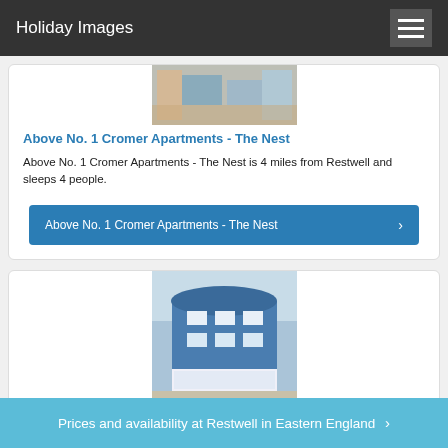Holiday Images
[Figure (photo): Partial image of an apartment interior - The Nest]
Above No. 1 Cromer Apartments - The Nest
Above No. 1 Cromer Apartments - The Nest is 4 miles from Restwell and sleeps 4 people.
Above No. 1 Cromer Apartments - The Nest ›
[Figure (photo): Exterior photo of a blue building - The Roost apartment]
Above No. 1 Cromer Apartments - The Roost
Prices and availability at Restwell in Eastern England ›